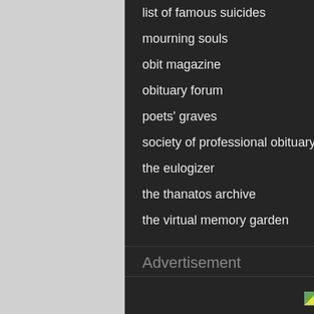list of famous suicides
mourning souls
obit magazine
obituary forum
poets' graves
society of professional obituary writers
the eulogizer
the thanatos archive
the virtual memory garden
Advertisement
[Figure (other): PersonalizationMall.com advertisement image placeholder]
Other Obits
atlanta journal-constitution